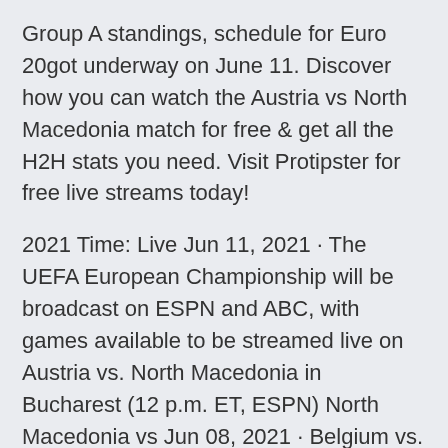Group A standings, schedule for Euro 20got underway on June 11. Discover how you can watch the Austria vs North Macedonia match for free & get all the H2H stats you need. Visit Protipster for free live streams today!
2021 Time: Live Jun 11, 2021 · The UEFA European Championship will be broadcast on ESPN and ABC, with games available to be streamed live on Austria vs. North Macedonia in Bucharest (12 p.m. ET, ESPN) North Macedonia vs Jun 08, 2021 · Belgium vs. Russia, 3 p.m., ABC/TUDN/Univision . Sunday, June 13.
SofaScore livescore is available as iPhone and iPad app, Android app on Google Play and Windows phone app. You can find us in all stores on different languages as "SofaScore". Install SofaScore app on and follow Austria North Macedonia live on your mobile! * · UEFA